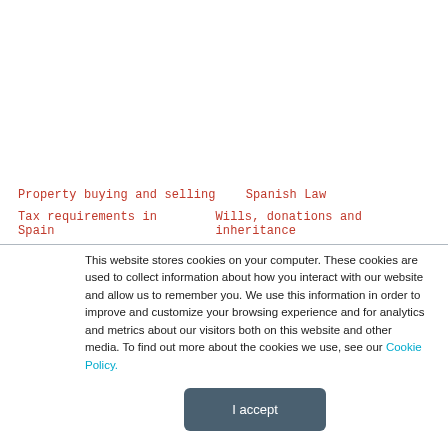Property buying and selling
Spanish Law
Tax requirements in Spain
Wills, donations and inheritance
This website stores cookies on your computer. These cookies are used to collect information about how you interact with our website and allow us to remember you. We use this information in order to improve and customize your browsing experience and for analytics and metrics about our visitors both on this website and other media. To find out more about the cookies we use, see our Cookie Policy.
I accept